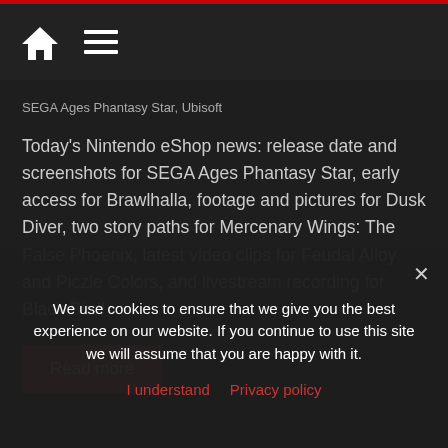SEGA Ages Phantasy Star, Ubisoft
Today's Nintendo eShop news: release date and screenshots for SEGA Ages Phantasy Star, early access for Brawlhalla, footage and pictures for Dusk Diver, two story paths for Mercenary Wings: The False Phoenix, latest video clips for Feudal Alloy and Piczle Colors, and livestream recording for Black Bird!
Read more
We use cookies to ensure that we give you the best experience on our website. If you continue to use this site we will assume that you are happy with it.
I understand  Privacy policy